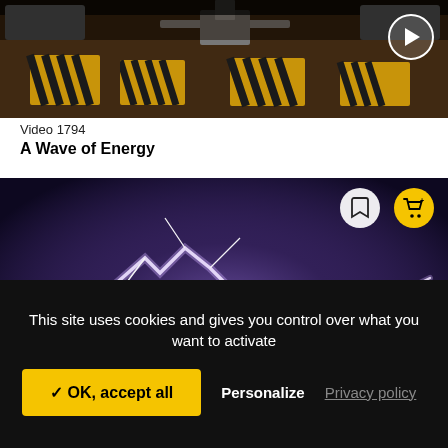[Figure (photo): Top video thumbnail showing industrial/mechanical equipment with yellow hazard stripes, with a circular play button in the upper right]
Video  1794
A Wave of Energy
[Figure (photo): Lightning strike photograph showing bright purple/white lightning bolts against a dark stormy sky, with bookmark and shopping cart icon buttons overlaid]
This site uses cookies and gives you control over what you want to activate
✓ OK, accept all
Personalize
Privacy policy